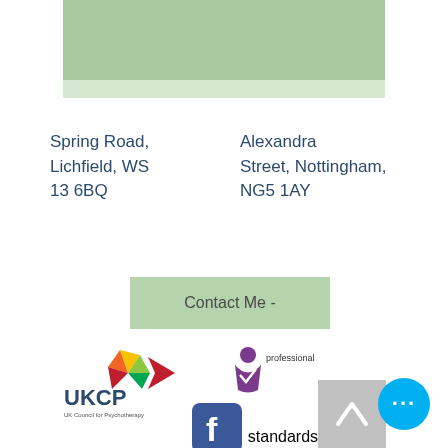[Figure (illustration): Green decorative bar at top of page]
Spring Road, Lichfield, WS 13 6BQ
Alexandra Street, Nottingham, NG5 1AY
Contact Me -
[Figure (logo): UKCP UK Council for Psychotherapy logo with colorful star/arrow and red chevron]
[Figure (logo): Professional Standards Authority accredited register logo with purple figure and circular head]
[Figure (logo): Facebook logo - blue F icon]
[Figure (illustration): Grey scroll-to-top button with upward chevron]
[Figure (illustration): Blue circular chat/menu button with three dots]